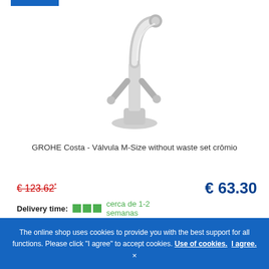[Figure (photo): Product photo of a chrome GROHE Costa faucet/tap with a tall curved spout and two lever handles on a white background]
GROHE Costa - Válvula M-Size without waste set crômio
€ 123.62*
€ 63.30
Delivery time: cerca de 1-2 semanas
The online shop uses cookies to provide you with the best support for all functions. Please click "I agree" to accept cookies. Use of cookies. I agree. ×